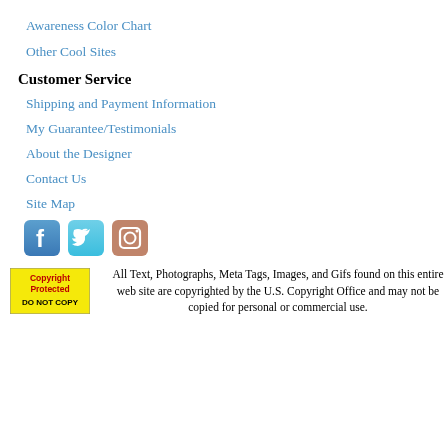Awareness Color Chart
Other Cool Sites
Customer Service
Shipping and Payment Information
My Guarantee/Testimonials
About the Designer
Contact Us
Site Map
[Figure (illustration): Social media icons: Facebook, Twitter, Instagram]
[Figure (logo): Copyright Protected DO NOT COPY badge with yellow background]
All Text, Photographs, Meta Tags, Images, and Gifs found on this entire web site are copyrighted by the U.S. Copyright Office and may not be copied for personal or commercial use.